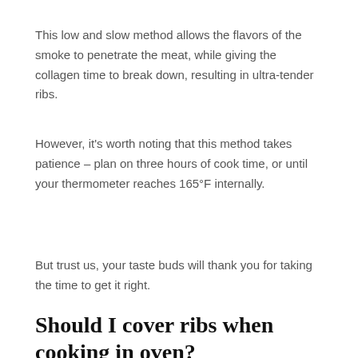This low and slow method allows the flavors of the smoke to penetrate the meat, while giving the collagen time to break down, resulting in ultra-tender ribs.
However, it's worth noting that this method takes patience – plan on three hours of cook time, or until your thermometer reaches 165°F internally.
But trust us, your taste buds will thank you for taking the time to get it right.
Should I cover ribs when cooking in oven?
When it comes to cooking ribs in the oven, there is no definitive answer as to whether or not you should cover them.